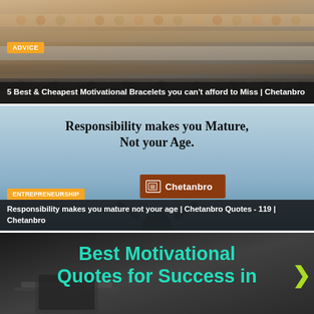[Figure (photo): Photo of motivational bracelets on wrist with warm tones]
ADVICE
5 Best & Cheapest Motivational Bracelets you can't afford to Miss | Chetanbro
[Figure (photo): Light blue motivational quote card: Responsibility makes you Mature, Not your Age. With Chetanbro logo.]
ENTREPRENEURSHIP
Responsibility makes you mature not your age | Chetanbro Quotes - 119 | Chetanbro
[Figure (photo): Dark background with laptop/books motivational image with teal text: Best Motivational Quotes for Success in]